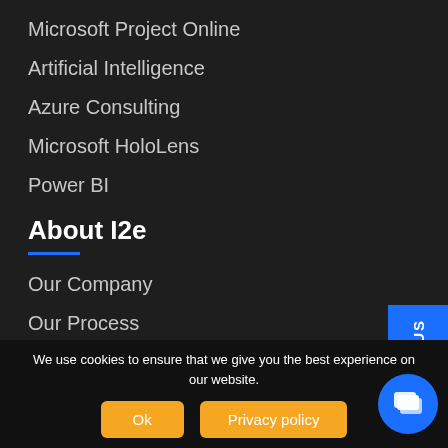Microsoft Project Online
Artificial Intelligence
Azure Consulting
Microsoft HoloLens
Power BI
About I2e
Our Company
Our Process
What we do
Who we are
We use cookies to ensure that we give you the best experience on our website.